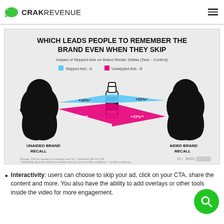CRAK REVENUE
[Figure (infographic): Infographic titled 'WHICH LEADS PEOPLE TO REMEMBER THE BRAND EVEN WHEN THEY SKIP' showing Impact of Skipped Ads on Brand Recall: Deltas (Test - Control). Two silhouette heads face a brand bottle. Skipped Ads-A (blue): +10%* unaided, +22%* aided. Unskipped Ads-B (pink/magenta): +45%** unaided, +72%** aided. Labels: UNAIDED BRAND RECALL (left), AIDED BRAND RECALL (right).]
Interactivity: users can choose to skip your ad, click on your CTA, share the content and more. You also have the ability to add overlays or other tools inside the video for more engagement.